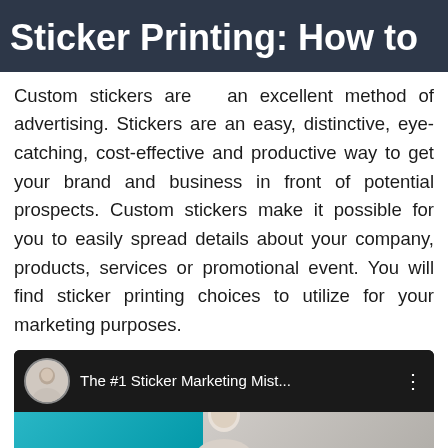Sticker Printing: How to
Custom stickers are an excellent method of advertising. Stickers are an easy, distinctive, eye-catching, cost-effective and productive way to get your brand and business in front of potential prospects. Custom stickers make it possible for you to easily spread details about your company, products, services or promotional event. You will find sticker printing choices to utilize for your marketing purposes.
[Figure (screenshot): YouTube-style video thumbnail showing a man in a circle avatar icon on the left, with the title 'The #1 Sticker Marketing Mist...' and a three-dot menu icon on a dark background. Below is a preview with a teal background on the left and a person visible on the right.]